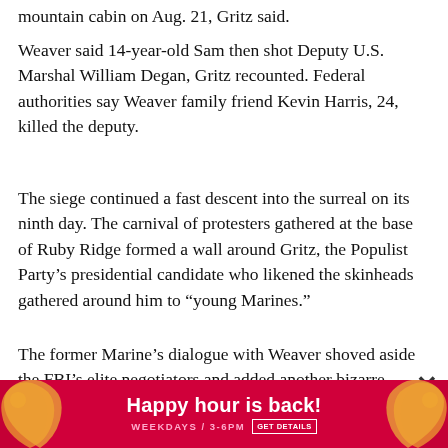mountain cabin on Aug. 21, Gritz said.
Weaver said 14-year-old Sam then shot Deputy U.S. Marshal William Degan, Gritz recounted. Federal authorities say Weaver family friend Kevin Harris, 24, killed the deputy.
The siege continued a fast descent into the surreal on its ninth day. The carnival of protesters gathered at the base of Ruby Ridge formed a wall around Gritz, the Populist Party's presidential candidate who likened the skinheads gathered around him to “young Marines.”
The former Marine’s dialogue with Weaver shoved aside the FBI’s elite negotiators and added another bizarre chapter to the ordeal.
Gritz c… ey
[Figure (other): Red advertisement banner reading 'Happy hour is back! WEEKDAYS / 3-6PM GET DETAILS' with decorative orange graphic elements on left and right sides]